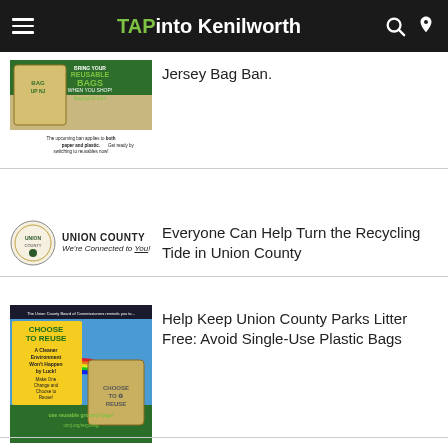TAPinto Kenilworth
[Figure (photo): Bag Up NJ reusable bags advertisement with text about upcoming ban on paper and plastic bags]
Jersey Bag Ban.
[Figure (logo): Union County seal/logo with text: UNION COUNTY We're Connected to You!]
Everyone Can Help Turn the Recycling Tide in Union County
[Figure (photo): Choose to Reuse advertisement with rainbow and reusable bag, text: The Union County Board of Commissioners reminds you to... CHOOSE TO REUSE A Cleaner Environment Won't Happen by Luck! Make One Change and Choose to Reuse! use reusable grocery bags! ucnj.org/recycling]
Help Keep Union County Parks Litter Free: Avoid Single-Use Plastic Bags